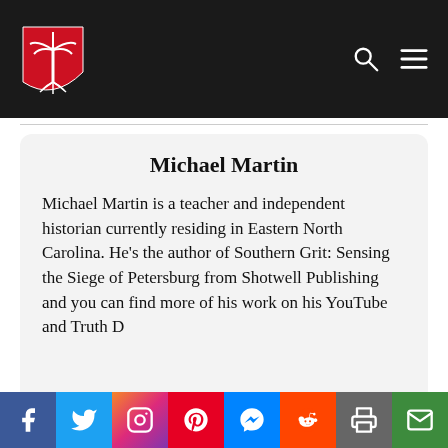Abbeville Institute [logo with shield]
Michael Martin
Michael Martin is a teacher and independent historian currently residing in Eastern North Carolina. He's the author of Southern Grit: Sensing the Siege of Petersburg from Shotwell Publishing and you can find more of his work on his YouTube and Truth D...